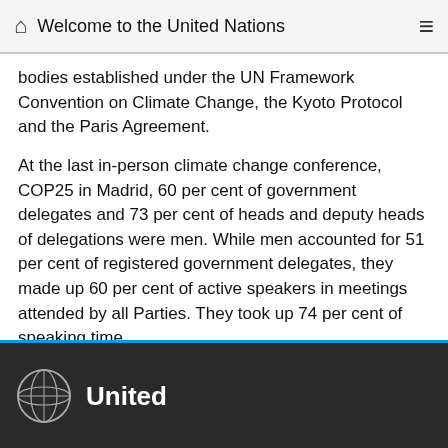Welcome to the United Nations
bodies established under the UN Framework Convention on Climate Change, the Kyoto Protocol and the Paris Agreement.
At the last in-person climate change conference, COP25 in Madrid, 60 per cent of government delegates and 73 per cent of heads and deputy heads of delegations were men. While men accounted for 51 per cent of registered government delegates, they made up 60 per cent of active speakers in meetings attended by all Parties. They took up 74 per cent of speaking time.
[Figure (other): Social share buttons: Add (+), Facebook, Twitter, Email, WhatsApp]
United Nations footer with UN logo